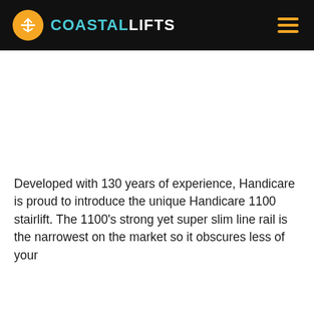COASTAL LIFTS
[Figure (logo): Coastal Lifts logo: orange circular icon with white graphic, followed by 'COASTAL' in teal and 'LIFTS' in white, bold sans-serif text on black background. Hamburger menu icon in orange on the right.]
Developed with 130 years of experience, Handicare is proud to introduce the unique Handicare 1100 stairlift. The 1100's strong yet super slim line rail is the narrowest on the market so it obscures less of your